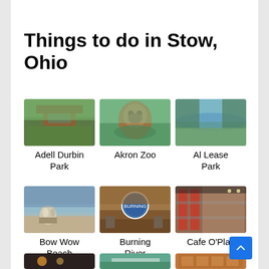Things to do in Stow, Ohio
[Figure (photo): Adell Durbin Park entrance sign with trees]
Adell Durbin Park
[Figure (photo): Bear wading in water at Akron Zoo]
Akron Zoo
[Figure (photo): Pond with trees at Al Lease Park]
Al Lease Park
[Figure (photo): Dogs at Bow Wow Beach by water]
Bow Wow Beach
[Figure (photo): Burning River Adventures logo and people at riverside]
Burning River Adventures
[Figure (photo): Indoor play area at Cafe O'Play]
Cafe O'Play
[Figure (photo): Dark indoor venue with lights]
[Figure (photo): Building with teal awning]
[Figure (photo): Multi-story brick building]